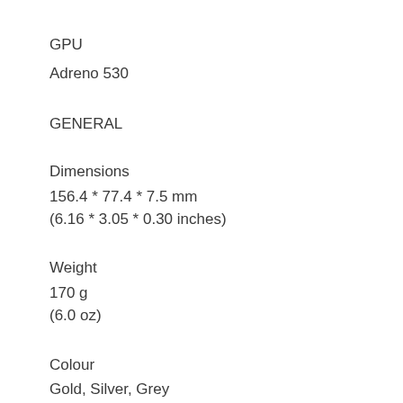GPU
Adreno 530
GENERAL
Dimensions
156.4 * 77.4 * 7.5 mm
(6.16 * 3.05 * 0.30 inches)
Weight
170 g
(6.0 oz)
Colour
Gold, Silver, Grey
Casing